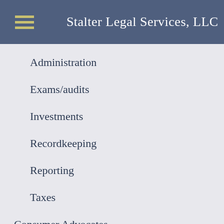Stalter Legal Services, LLC
Administration
Exams/audits
Investments
Recordkeeping
Reporting
Taxes
Consumer Advocates
Cremation
Fiduciary
Funeral